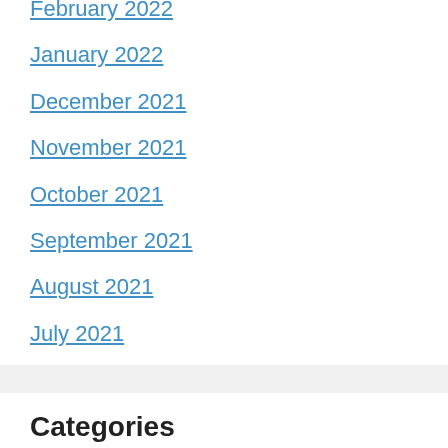February 2022
January 2022
December 2021
November 2021
October 2021
September 2021
August 2021
July 2021
Categories
Beauty
Blog